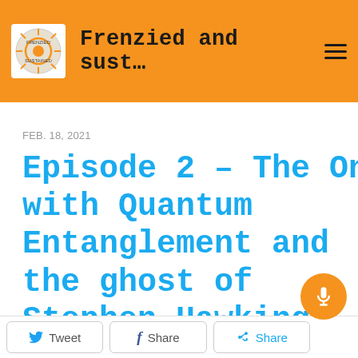Frenzied and sust…
FEB. 18, 2021
Episode 2 - The One with Quantum Entanglement and the ghost of Stephen Hawking ruins the joke